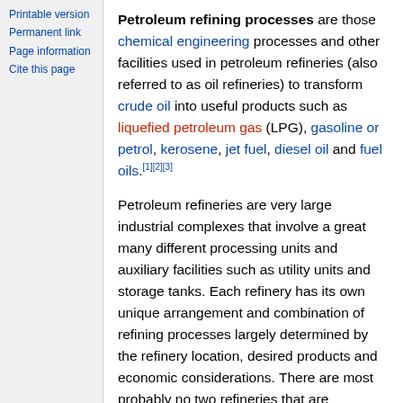Printable version
Permanent link
Page information
Cite this page
Petroleum refining processes are those chemical engineering processes and other facilities used in petroleum refineries (also referred to as oil refineries) to transform crude oil into useful products such as liquefied petroleum gas (LPG), gasoline or petrol, kerosene, jet fuel, diesel oil and fuel oils.[1][2][3]
Petroleum refineries are very large industrial complexes that involve a great many different processing units and auxiliary facilities such as utility units and storage tanks. Each refinery has its own unique arrangement and combination of refining processes largely determined by the refinery location, desired products and economic considerations. There are most probably no two refineries that are